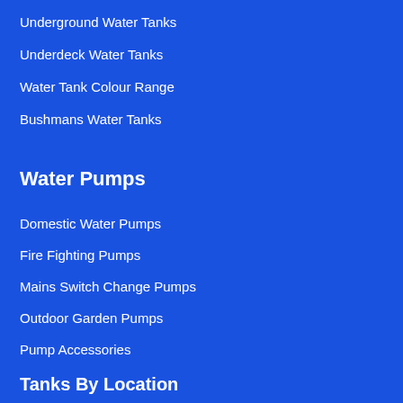Underground Water Tanks
Underdeck Water Tanks
Water Tank Colour Range
Bushmans Water Tanks
Water Pumps
Domestic Water Pumps
Fire Fighting Pumps
Mains Switch Change Pumps
Outdoor Garden Pumps
Pump Accessories
Tanks By Location
Water Tanks Melbourne